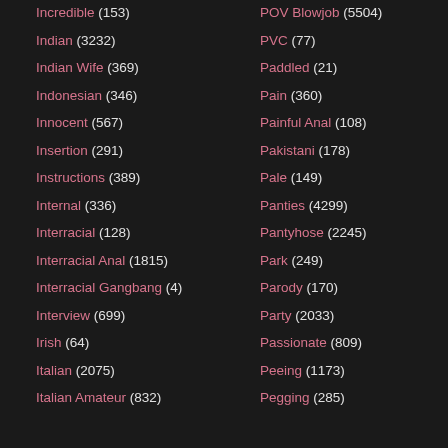Incredible (153)
Indian (3232)
Indian Wife (369)
Indonesian (346)
Innocent (567)
Insertion (291)
Instructions (389)
Internal (336)
Interracial (128)
Interracial Anal (1815)
Interracial Gangbang (4)
Interview (699)
Irish (64)
Italian (2075)
Italian Amateur (832)
POV Blowjob (5504)
PVC (77)
Paddled (21)
Pain (360)
Painful Anal (108)
Pakistani (178)
Pale (149)
Panties (4299)
Pantyhose (2245)
Park (249)
Parody (170)
Party (2033)
Passionate (809)
Peeing (1173)
Pegging (285)